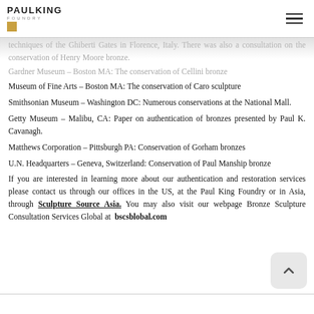PaulKing Foundry
techniques of the Ghiberti Gates in Florence, Italy. There was also a consultation on the conservation of Henry Moore bronze.
Gardner Museum – Boston MA: The conservation of Cellini bronze
Museum of Fine Arts – Boston MA: The conservation of Caro sculpture
Smithsonian Museum – Washington DC: Numerous conservations at the National Mall.
Getty Museum – Malibu, CA: Paper on authentication of bronzes presented by Paul K. Cavanagh.
Matthews Corporation – Pittsburgh PA: Conservation of Gorham bronzes
U.N. Headquarters – Geneva, Switzerland: Conservation of Paul Manship bronze
If you are interested in learning more about our authentication and restoration services please contact us through our offices in the US, at the Paul King Foundry or in Asia, through Sculpture Source Asia. You may also visit our webpage Bronze Sculpture Consultation Services Global at bscsblobal.com